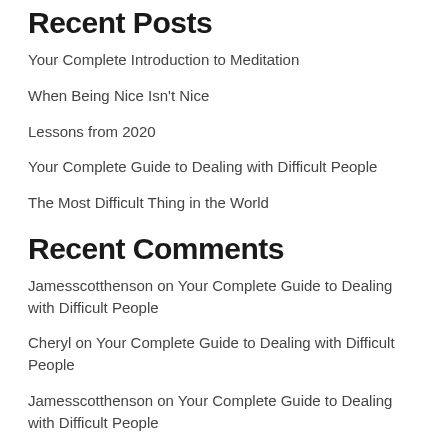Recent Posts
Your Complete Introduction to Meditation
When Being Nice Isn't Nice
Lessons from 2020
Your Complete Guide to Dealing with Difficult People
The Most Difficult Thing in the World
Recent Comments
Jamesscotthenson on Your Complete Guide to Dealing with Difficult People
Cheryl on Your Complete Guide to Dealing with Difficult People
Jamesscotthenson on Your Complete Guide to Dealing with Difficult People
Meredith on Your Complete Guide to Dealing